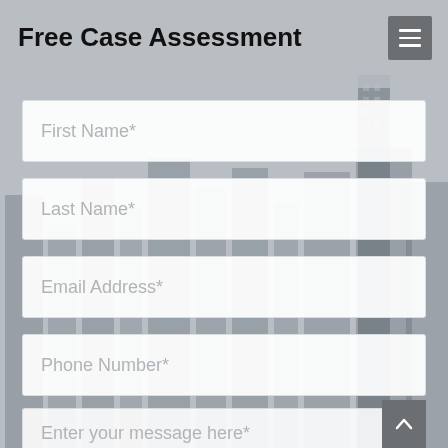Free Case Assessment
First Name*
Last Name*
Email Address*
Phone Number*
Enter your message here*